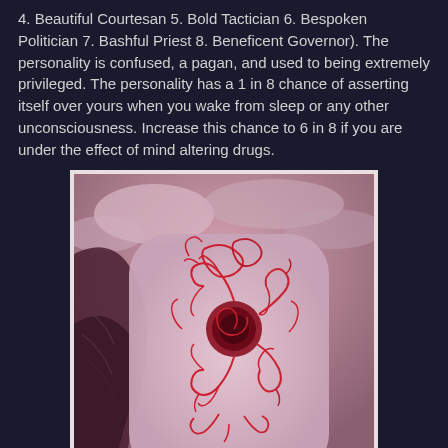4. Beautiful Courtesan 5. Bold Tactician 6. Bespoken Politician 7. Bashful Priest 8. Beneficent Governor). The personality is confused, a pagan, and used to being extremely privileged. The personality has a 1 in 8 chance of asserting itself over yours when you wake from sleep or any other unconsciousness. Increase this chance to 6 in 8 if you are under the effect of mind altering drugs.
[Figure (illustration): A surreal fantasy illustration showing a pale pinkish-lavender rounded rectangular form with intricate red vine-like or vascular patterns and a dark spiral center, held or emerging from a textured dark surface, against a cloudy pink sky background.]